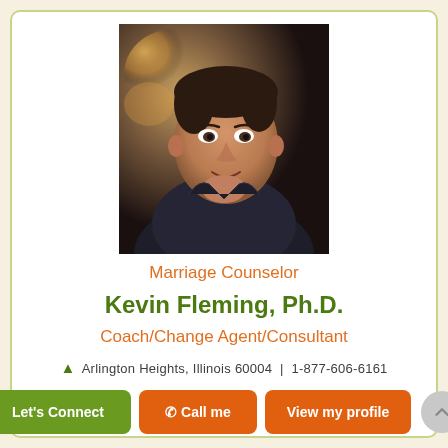[Figure (photo): Professional headshot of Kevin Fleming, Ph.D. — a middle-aged man in a dark jacket, hand raised near chin, smiling, with warm bokeh background lighting.]
Marriage Counselor
Kevin Fleming, Ph.D.
Coach/Change Agent/Consultant
Arlington Heights, Illinois 60004 | 1-877-606-6161
Let's Connect | Call me | View my profile